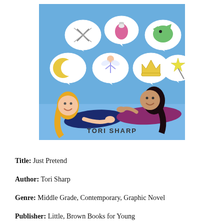[Figure (illustration): Book cover of 'Just Pretend' by Tori Sharp. Light blue background with two girls lying on the floor talking to each other, with speech bubbles above containing fantasy icons: crossed swords, a potion bottle, a dragon, a crescent moon, a fairy, a crown, and a magic wand star. The author name 'TORI SHARP' appears at the bottom of the cover.]
Title: Just Pretend
Author: Tori Sharp
Genre: Middle Grade, Contemporary, Graphic Novel
Publisher: Little, Brown Books for Young